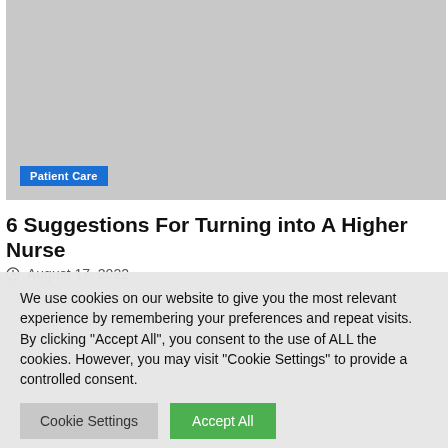[Figure (photo): Gray placeholder image area for article thumbnail]
Patient Care
6 Suggestions For Turning into A Higher Nurse
August 17, 2022
We use cookies on our website to give you the most relevant experience by remembering your preferences and repeat visits. By clicking “Accept All”, you consent to the use of ALL the cookies. However, you may visit "Cookie Settings" to provide a controlled consent.
Cookie Settings  Accept All